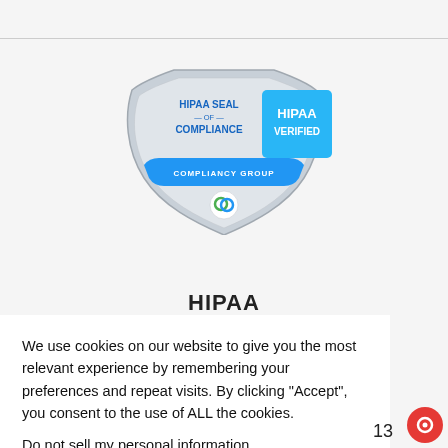[Figure (logo): HIPAA Seal of Compliance badge with shield shape and 'HIPAA VERIFIED' blue rectangle from Compliancy Group]
HIPAA
We use cookies on our website to give you the most relevant experience by remembering your preferences and repeat visits. By clicking “Accept”, you consent to the use of ALL the cookies.
Do not sell my personal information.
13